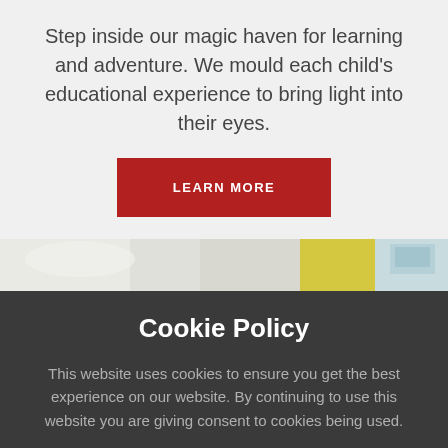Step inside our magic haven for learning and adventure. We mould each child's educational experience to bring light into their eyes.
LEARN MORE
[Figure (photo): A partial image strip showing a bright classroom or children's learning environment with yellow and light blue/teal colors visible.]
Cookie Policy
This website uses cookies to ensure you get the best experience on our website. By continuing to use this website you are giving consent to cookies being used.
ACCEPT
More information